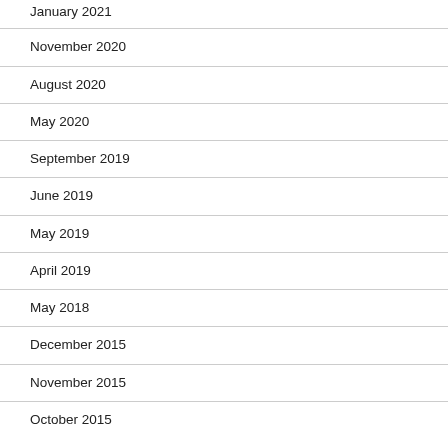January 2021
November 2020
August 2020
May 2020
September 2019
June 2019
May 2019
April 2019
May 2018
December 2015
November 2015
October 2015